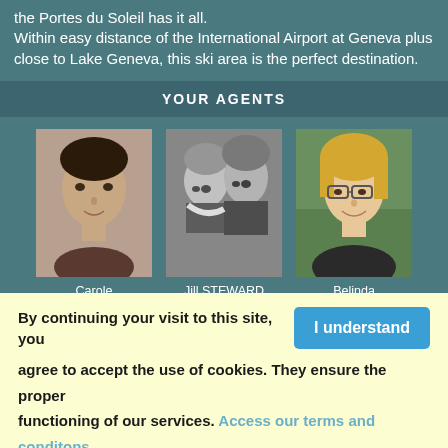the Portes du Soleil has it all. Within easy distance of the International Airport at Geneva plus close to Lake Geneva, this ski area is the perfect destination.
YOUR AGENTS
[Figure (photo): Three agent profile photos side by side: Carole LOBERTREAU (woman with dark hair), Jill STEWARD (black and white group photo with two people), Belinda BATESON (woman with glasses and blonde hair)]
CONTACT DETAILS
By continuing your visit to this site, you agree to accept the use of cookies. They ensure the proper functioning of our services. Access our terms and conditons.